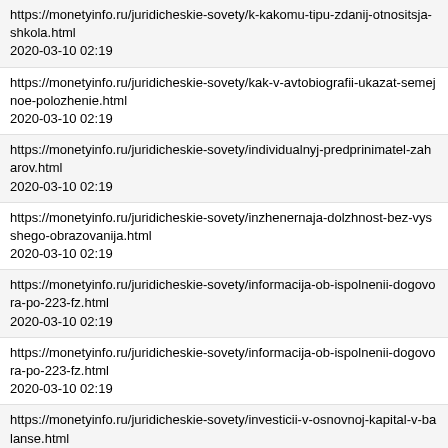https://monetyinfo.ru/juridicheskie-sovety/k-kakomu-tipu-zdanij-otnositsja-shkola.html
2020-03-10 02:19
https://monetyinfo.ru/juridicheskie-sovety/kak-v-avtobiografii-ukazat-semejnoe-polozhenie.html
2020-03-10 02:19
https://monetyinfo.ru/juridicheskie-sovety/individualnyj-predprinimatel-zaharov.html
2020-03-10 02:19
https://monetyinfo.ru/juridicheskie-sovety/inzhenernaja-dolzhnost-bez-vysshego-obrazovanija.html
2020-03-10 02:19
https://monetyinfo.ru/juridicheskie-sovety/informacija-ob-ispolnenii-dogovora-po-223-fz.html
2020-03-10 02:19
https://monetyinfo.ru/juridicheskie-sovety/informacija-ob-ispolnenii-dogovora-po-223-fz.html
2020-03-10 02:19
https://monetyinfo.ru/juridicheskie-sovety/investicii-v-osnovnoj-kapital-v-balanse.html
2020-03-10 02:19
https://monetyinfo.ru/juridicheskie-sovety/individualnyj-predprinimatel-zaharov.html
2020-03-10 02:19
https://monetyinfo.ru/juridicheskie-sovety/inzhenernaja-dolzhnost-bez-vysshego-obrazovanija.html
2020-03-10 02:19
https://monetyinfo.ru/juridicheskie-sovety/investicii-v-osnovnoj-kapital-v-balanse.html
2020-03-10 02:19
https://monetyinfo.ru/juridicheskie-sovety/zajavlenie-o-rastorzhenie-braka-v-mirovoj-sud.html
2020-03-10 02:19